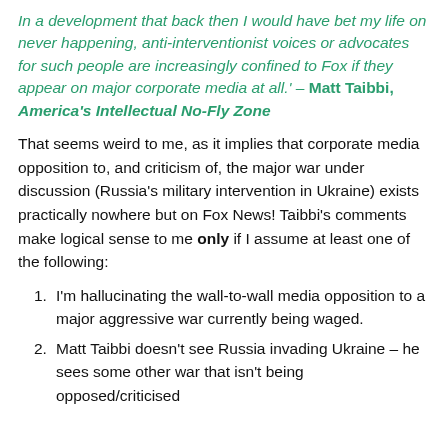In a development that back then I would have bet my life on never happening, anti-interventionist voices or advocates for such people are increasingly confined to Fox if they appear on major corporate media at all.' – Matt Taibbi, America's Intellectual No-Fly Zone
That seems weird to me, as it implies that corporate media opposition to, and criticism of, the major war under discussion (Russia's military intervention in Ukraine) exists practically nowhere but on Fox News! Taibbi's comments make logical sense to me only if I assume at least one of the following:
I'm hallucinating the wall-to-wall media opposition to a major aggressive war currently being waged.
Matt Taibbi doesn't see Russia invading Ukraine – he sees some other war that isn't being opposed/criticised